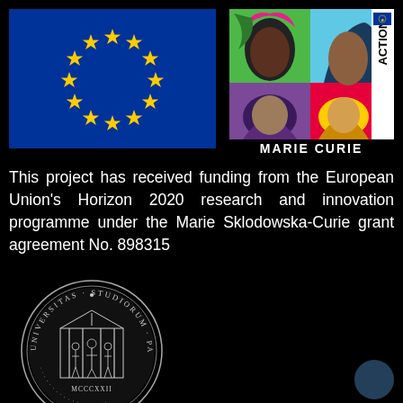[Figure (logo): EU flag: blue rectangle with 12 yellow stars arranged in a circle]
[Figure (logo): Marie Curie Actions logo: colorful pop-art style portraits of Marie Curie in 4 quadrants, with 'MARIE CURIE' text and 'ACTIONS' vertical text on right side]
This project has received funding from the European Union's Horizon 2020 research and innovation programme under the Marie Sklodowska-Curie grant agreement No. 898315
[Figure (logo): University of Padova circular seal/crest in black and white with Latin text 'UNIVERSITAS STUDIORUM PATAVII' and 'MCCCXXII' with figures in center]
[Figure (other): Small dark bluish-grey circular element in bottom right corner]